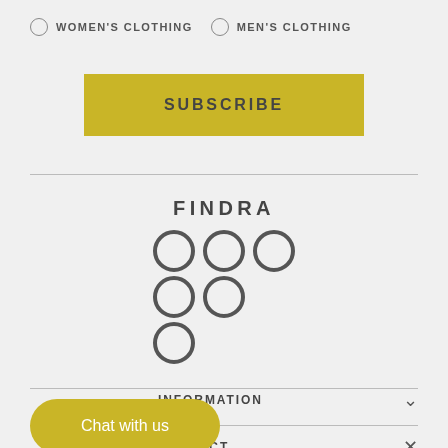WOMEN'S CLOTHING  MEN'S CLOTHING
SUBSCRIBE
[Figure (logo): FINDRA logo with text and dot grid pattern forming letter F]
Chat with us
INFORMATION
CONTACT